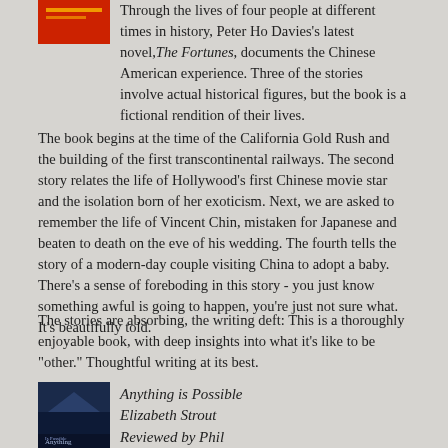[Figure (illustration): Red book cover at top of page, partially visible]
Through the lives of four people at different times in history, Peter Ho Davies's latest novel, The Fortunes, documents the Chinese American experience. Three of the stories involve actual historical figures, but the book is a fictional rendition of their lives.
The book begins at the time of the California Gold Rush and the building of the first transcontinental railways. The second story relates the life of Hollywood's first Chinese movie star and the isolation born of her exoticism. Next, we are asked to remember the life of Vincent Chin, mistaken for Japanese and beaten to death on the eve of his wedding. The fourth tells the story of a modern-day couple visiting China to adopt a baby. There's a sense of foreboding in this story - you just know something awful is going to happen, you're just not sure what. It's beautifully told.
The stories are absorbing, the writing deft: This is a thoroughly enjoyable book, with deep insights into what it's like to be "other." Thoughtful writing at its best.
[Figure (illustration): Book cover of Anything is Possible by Elizabeth Strout, dark blue cover with mountain silhouette]
Anything is Possible
Elizabeth Strout
Reviewed by Phil